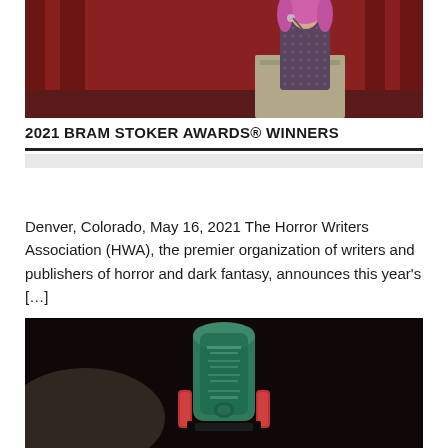[Figure (photo): A person with pink/magenta hair standing at a podium or microphone, against a dark red curtain background.]
2021 BRAM STOKER AWARDS® WINNERS
Denver, Colorado, May 16, 2021 The Horror Writers Association (HWA), the premier organization of writers and publishers of horror and dark fantasy, announces this year's […]
[Figure (photo): A Bram Stoker Award trophy — a dark green/teal arch-shaped plaque with red accent pieces on the sides — displayed on a dark background.]